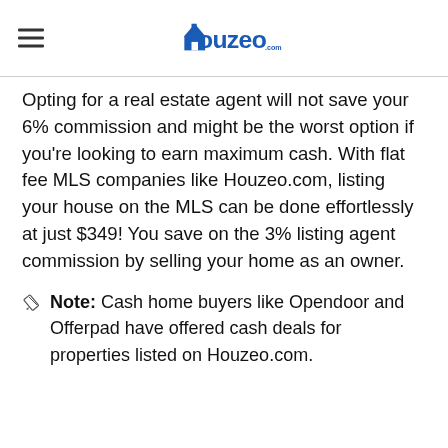Houzeo
Opting for a real estate agent will not save your 6% commission and might be the worst option if you're looking to earn maximum cash. With flat fee MLS companies like Houzeo.com, listing your house on the MLS can be done effortlessly at just $349! You save on the 3% listing agent commission by selling your home as an owner.
Note: Cash home buyers like Opendoor and Offerpad have offered cash deals for properties listed on Houzeo.com.